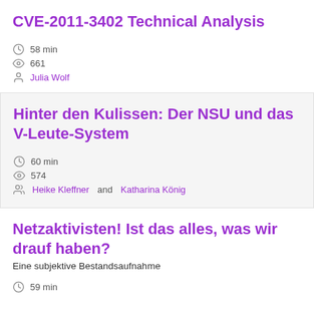CVE-2011-3402 Technical Analysis
58 min
661
Julia Wolf
Hinter den Kulissen: Der NSU und das V-Leute-System
60 min
574
Heike Kleffner and Katharina König
Netzaktivisten! Ist das alles, was wir drauf haben?
Eine subjektive Bestandsaufnahme
59 min